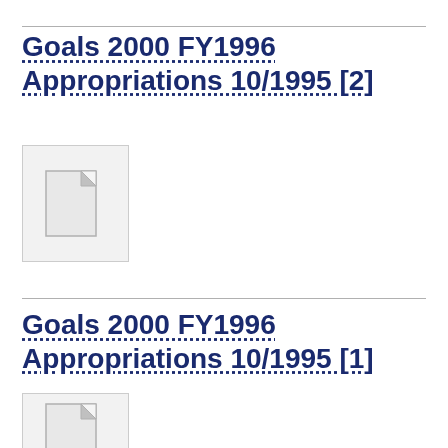Goals 2000 FY1996 Appropriations 10/1995 [2]
[Figure (illustration): Generic document/file icon placeholder — grey rectangle with folded top-right corner]
Goals 2000 FY1996 Appropriations 10/1995 [1]
[Figure (illustration): Generic document/file icon placeholder — grey rectangle with folded top-right corner, partially visible]